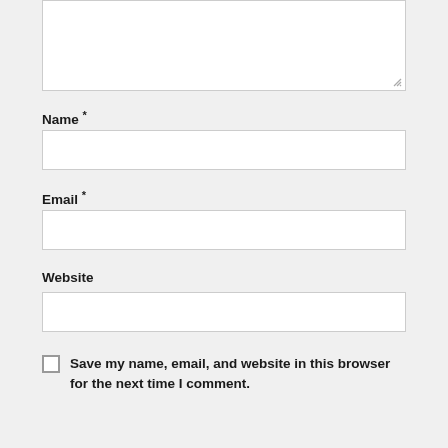[Figure (screenshot): Partial textarea input box (top of page, cropped)]
Name *
[Figure (screenshot): Name input field (white text box)]
Email *
[Figure (screenshot): Email input field (white text box)]
Website
[Figure (screenshot): Website input field (white text box)]
Save my name, email, and website in this browser for the next time I comment.